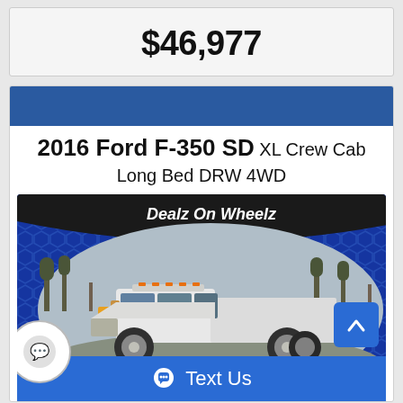$46,977
2016 Ford F-350 SD XL Crew Cab Long Bed DRW 4WD
[Figure (photo): White 2016 Ford F-350 SD crew cab long bed truck photographed outdoors, displayed within a circular/oval frame with a dark metallic banner reading 'Dealz On Wheelz' and a blue hexagon-pattern background. A 'Text Us' button bar appears at the bottom.]